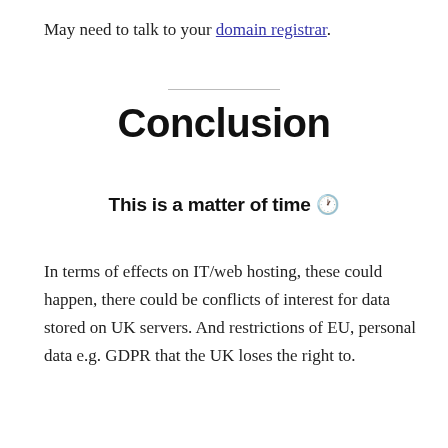May need to talk to your domain registrar.
Conclusion
This is a matter of time 🕐
In terms of effects on IT/web hosting, these could happen, there could be conflicts of interest for data stored on UK servers. And restrictions of EU, personal data e.g. GDPR that the UK loses the right to.